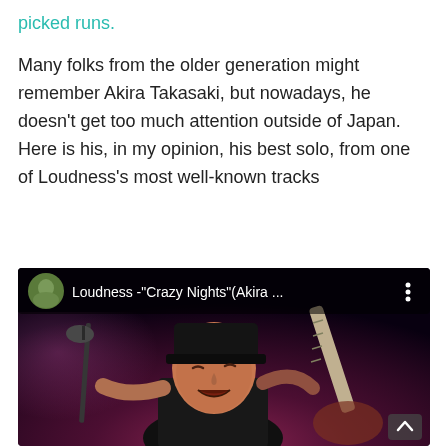picked runs.
Many folks from the older generation might remember Akira Takasaki, but nowadays, he doesn't get too much attention outside of Japan. Here is his, in my opinion, his best solo, from one of Loudness's most well-known tracks
[Figure (screenshot): YouTube video thumbnail showing Loudness - "Crazy Nights" (Akira...) with a performer playing guitar on stage in a dark concert setting. The performer wears a dark hat and plays an electric guitar. A microphone stand is visible. Bottom right has a scroll/chevron button.]